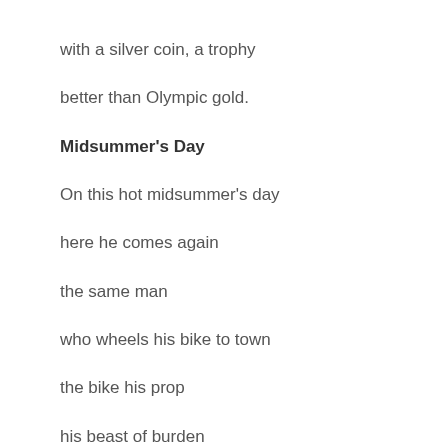with a silver coin, a trophy
better than Olympic gold.
Midsummer's Day
On this hot midsummer's day
here he comes again
the same man
who wheels his bike to town
the bike his prop
his beast of burden